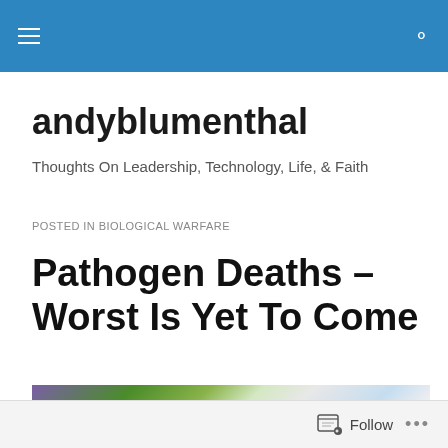andyblumenthal — navigation bar with menu and search icons
andyblumenthal
Thoughts On Leadership, Technology, Life, & Faith
POSTED IN BIOLOGICAL WARFARE
Pathogen Deaths – Worst Is Yet To Come
[Figure (photo): Blurred photo of a store shelf with colorful packaged goods and a 'Kosher' sign visible in the center]
Follow